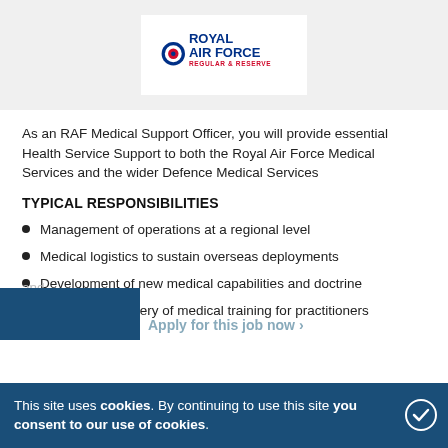[Figure (logo): Royal Air Force Regular & Reserve logo with roundel target icon]
As an RAF Medical Support Officer, you will provide essential Health Service Support to both the Royal Air Force Medical Services and the wider Defence Medical Services
TYPICAL RESPONSIBILITIES
Management of operations at a regional level
Medical logistics to sustain overseas deployments
Development of new medical capabilities and doctrine
Design and delivery of medical training for practitioners and...
This site uses cookies. By continuing to use this site you consent to our use of cookies.